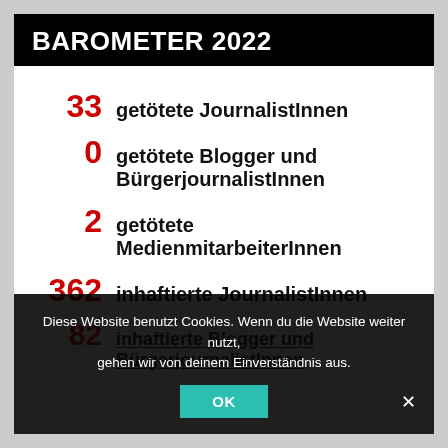BAROMETER 2022
33 getötete JournalistInnen
0 getötete Blogger und BürgerjournalistInnen
2 getötete MedienmitarbeiterInnen
362 inhaftierte JournalistInnen
82 inhaftierte Blogger und BürgerjournalistInnen
Diese Website benutzt Cookies. Wenn du die Website weiter nutzt, gehen wir von deinem Einverständnis aus.